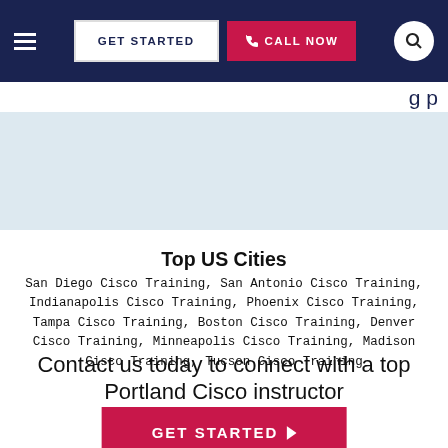GET STARTED | CALL NOW
Top US Cities
San Diego Cisco Training, San Antonio Cisco Training, Indianapolis Cisco Training, Phoenix Cisco Training, Tampa Cisco Training, Boston Cisco Training, Denver Cisco Training, Minneapolis Cisco Training, Madison Cisco Training, Tucson Cisco Training
Contact us today to connect with a top Portland Cisco instructor
GET STARTED